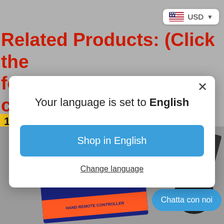[Figure (screenshot): E-commerce product page background showing 'Related Products: (Click the following pictures to check more p...' in red bold text, with a yellow '1.' marker, and product boxes with remote controller in the lower portion. A USD currency selector button appears top right. A 'Chatta con noi' chat button appears bottom right.]
Your language is set to English
Shop in English
Change language